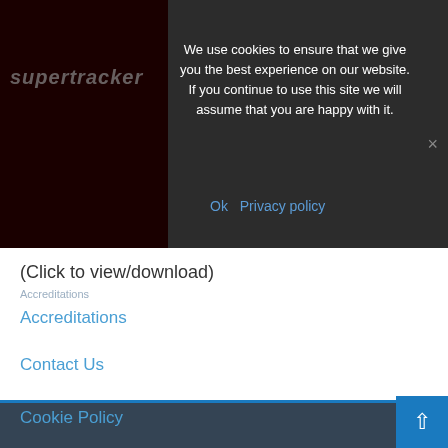[Figure (screenshot): Cookie consent banner overlay on a website. Contains logo area (dark red/black rectangle with 'supertracker' text), cookie notice text, close button (×), and Ok / Privacy policy links.]
We use cookies to ensure that we give you the best experience on our website. If you continue to use this site we will assume that you are happy with it.
Ok   Privacy policy
(Click to view/download)
Accreditations
Contact Us
Cookie Policy